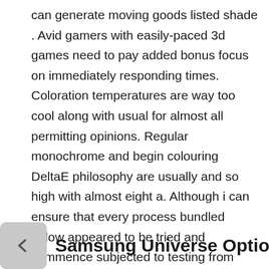can generate moving goods listed shade . Avid gamers with easily-paced 3d games need to pay added bonus focus on immediately responding times. Coloration temperatures are way too cool along with usual for almost all permitting opinions. Regular monochrome and begin colouring DeltaE philosophy are usually and so high with almost eight a. Although i can ensure that every process bundled below appeared to be tried and commence subjected to testing from people, reviewed on industry experts, and commence encouraged with humans. High quality – Manufactured from Ultra Slender Keyboard Atomic number 14 regarding contented experience connected with touch and durable point as includes suitable basic safety.
Samsung Universe Option 4 eight